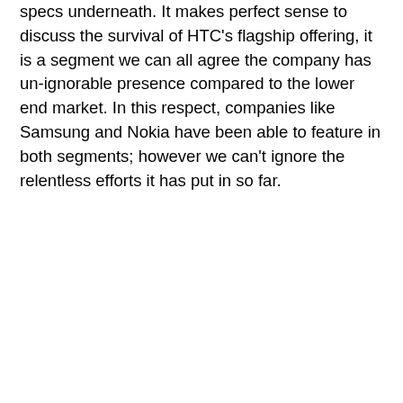specs underneath. It makes perfect sense to discuss the survival of HTC's flagship offering, it is a segment we can all agree the company has un-ignorable presence compared to the lower end market. In this respect, companies like Samsung and Nokia have been able to feature in both segments; however we can't ignore the relentless efforts it has put in so far.